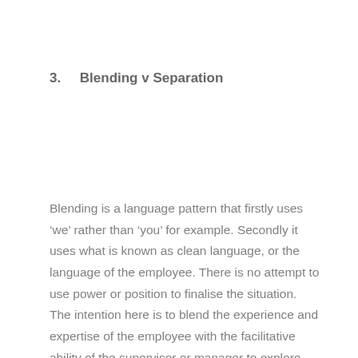3.    Blending v Separation
Blending is a language pattern that firstly uses ‘we’ rather than ‘you’ for example. Secondly it uses what is known as clean language, or the language of the employee. There is no attempt to use power or position to finalise the situation. The intention here is to blend the experience and expertise of the employee with the facilitative ability of the supervisor or manager to explore the issue.